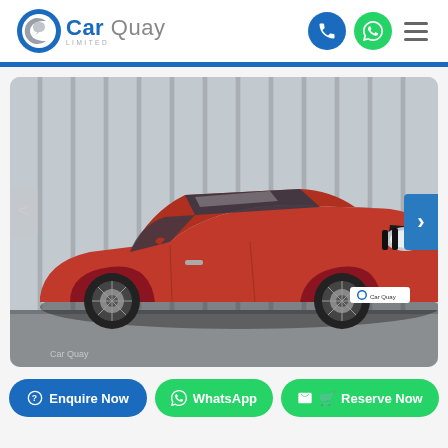[Figure (logo): Car Quay Limited logo with circular C icon in blue/grey]
[Figure (photo): Red BMW 3 Series sedan photographed in front of a corrugated metal wall, with Car Quay branding on the number plate frame]
Enquire Now
WhatsApp
Reserve Now